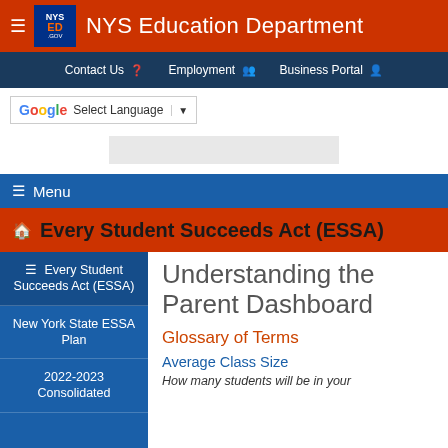NYS Education Department
Contact Us  Employment  Business Portal
Select Language
Understanding the Parent Dashboard
Glossary of Terms
Average Class Size
How many students will be in your
Every Student Succeeds Act (ESSA)
New York State ESSA Plan
2022-2023 Consolidated